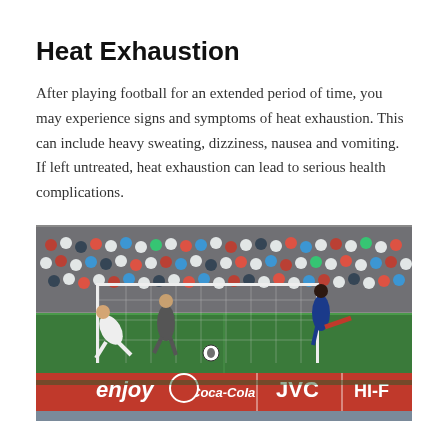Heat Exhaustion
After playing football for an extended period of time, you may experience signs and symptoms of heat exhaustion. This can include heavy sweating, dizziness, nausea and vomiting. If left untreated, heat exhaustion can lead to serious health complications.
[Figure (photo): A football (soccer) match scene showing players near a goal with a crowded stadium in the background and red advertising boards reading 'enjoy', 'Coca-Cola', 'JVC', and 'HI-F' visible along the pitch.]